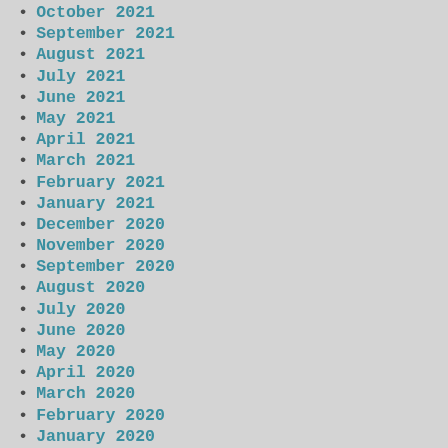October 2021
September 2021
August 2021
July 2021
June 2021
May 2021
April 2021
March 2021
February 2021
January 2021
December 2020
November 2020
September 2020
August 2020
July 2020
June 2020
May 2020
April 2020
March 2020
February 2020
January 2020
December 2019
November 2019
October 2019
December 2018